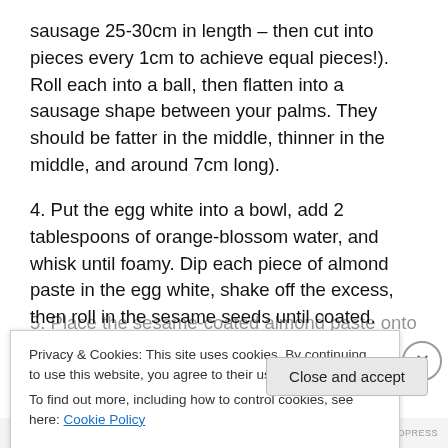sausage 25-30cm in length – then cut into pieces every 1cm to achieve equal pieces!). Roll each into a ball, then flatten into a sausage shape between your palms. They should be fatter in the middle, thinner in the middle, and around 7cm long).
4. Put the egg white into a bowl, add 2 tablespoons of orange-blossom water, and whisk until foamy. Dip each piece of almond paste in the egg white, shake off the excess, then roll in the sesame seeds until coated.
5. Place the sesame-coated almond paste onto the baking
Privacy & Cookies: This site uses cookies. By continuing to use this website, you agree to their use.
To find out more, including how to control cookies, see here: Cookie Policy
Close and accept